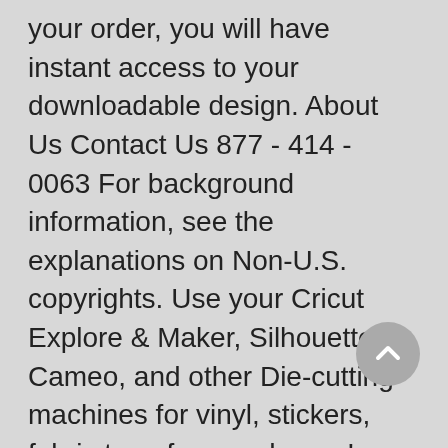your order, you will have instant access to your downloadable design. About Us Contact Us 877 - 414 - 0063 For background information, see the explanations on Non-U.S. copyrights. Use your Cricut Explore & Maker, Silhouette Cameo, and other Die-cutting machines for vinyl, stickers, fabric transfers, and more! Musical Notation Music Notes Love Heart with Guitar SVG Cut File. About us. FreeSVG.org offers free vector images in SVG format with Creative Commons 0 license (public domain). English: Some example music notation. Purchases are final sale. (previous page) () SVG is a graphics format that bases on XML.I see two applications of SVG in musical notation: It is ideal to integrate music notation with small files with high quality into the WWW (as a replacement for gif; jpeg isn't well suited for music notation anyhow) and to print the same data with high quality. Download SVG Large PNG 2400px Small PNG ... FreeSVG.org offers free